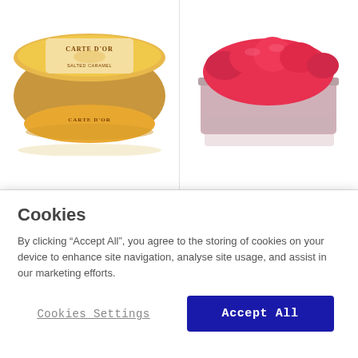[Figure (photo): Carte D'or Salted Caramel ice cream tub, gold oval container with Carte D'or branding]
Carte D'or Salted Caramel 1 Litre / Pottle
[Figure (photo): Carte D'or Raspberry Sorbet in a silver/metal rectangular catering tub, bright red sorbet]
Carte D'or Raspberry Sorbet 5.5 Litre
Cookies
By clicking “Accept All”, you agree to the storing of cookies on your device to enhance site navigation, analyse site usage, and assist in our marketing efforts.
Cookies Settings
Accept All